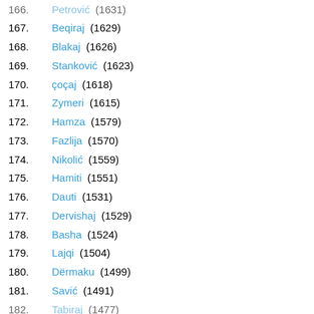166. Petrović (1631)
167. Beqiraj (1629)
168. Blakaj (1626)
169. Stanković (1623)
170. çoçaj (1618)
171. Zymeri (1615)
172. Hamza (1579)
173. Fazlija (1570)
174. Nikolić (1559)
175. Hamiti (1551)
176. Dauti (1531)
177. Dervishaj (1529)
178. Basha (1524)
179. Lajqi (1504)
180. Dërmaku (1499)
181. Savić (1491)
182. Tabiraj (1477)